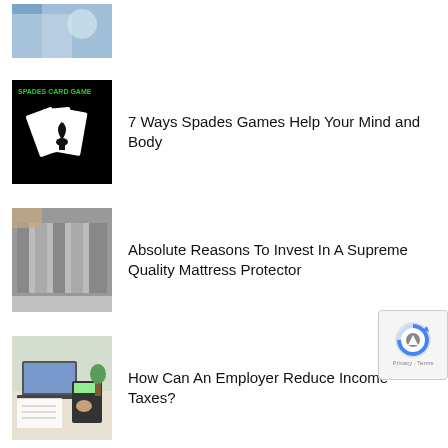[Figure (photo): Partial thumbnail at top, cropped image showing blue/grey tones]
[Figure (photo): Spades card game thumbnail — black background with playing cards and green text 'SPADES CARD GAME']
7 Ways Spades Games Help Your Mind and Body
[Figure (photo): Mattress protector thumbnail — rolled mattress protector grey striped fabric]
Absolute Reasons To Invest In A Supreme Quality Mattress Protector
[Figure (photo): Employer taxes thumbnail — laptop and calculator on desk, person writing]
How Can An Employer Reduce Income Taxes?
[Figure (photo): Bottom cropped thumbnail — blue screen, partial image]
Believing These 5 Myths About